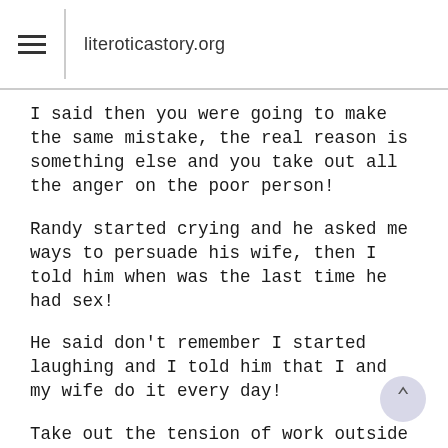literoticastory.org
I said then you were going to make the same mistake, the real reason is something else and you take out all the anger on the poor person!
Randy started crying and he asked me ways to persuade his wife, then I told him when was the last time he had sex!
He said don't remember I started laughing and I told him that I and my wife do it every day!
Take out the tension of work outside of the house!
He asked what should I do now? I suggested gifting her an outfit but what had to be done after that was written in my story!
My Story is Sex in a moving bus between Mountains